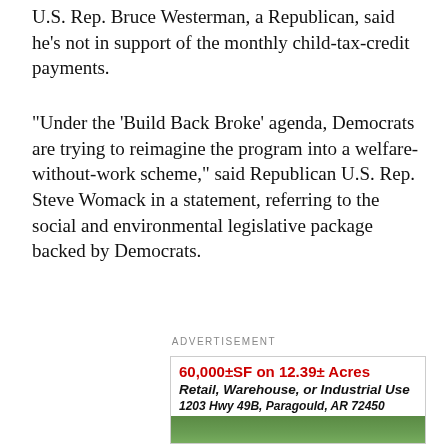U.S. Rep. Bruce Westerman, a Republican, said he's not in support of the monthly child-tax-credit payments.
"Under the 'Build Back Broke' agenda, Democrats are trying to reimagine the program into a welfare-without-work scheme," said Republican U.S. Rep. Steve Womack in a statement, referring to the social and environmental legislative package backed by Democrats.
ADVERTISEMENT
[Figure (infographic): Real estate advertisement for a commercial property: 60,000±SF on 12.39± Acres, Retail, Warehouse, or Industrial Use, 1203 Hwy 49B, Paragould, AR 72450. Aerial photo of warehouse buildings with red roof. Fine print: 10% buyers premium applies. $20,000 non-refundable down payment required. Sold as is, where is. #1440 REALTOR®, CAI, PRI, CR 2013. #1315, Broker, CAI, CES, GRI, CPPA]